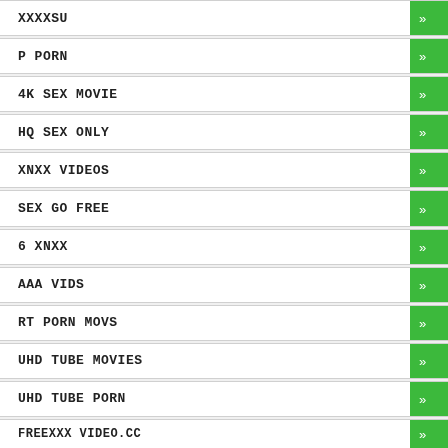XXXXSU
P PORN
4K SEX MOVIE
HQ SEX ONLY
XNXX VIDEOS
SEX GO FREE
6 XNXX
AAA VIDS
RT PORN MOVS
UHD TUBE MOVIES
UHD TUBE PORN
FREEXXX VIDEO.CC